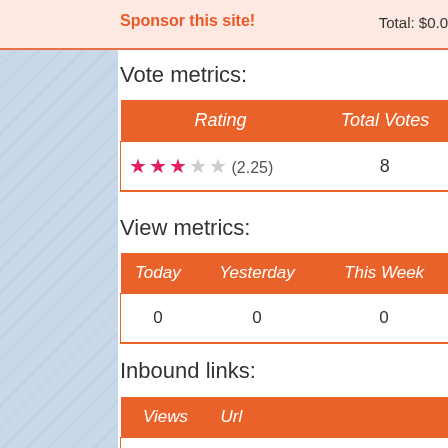Sponsor this site!   Total: $0.0
Vote metrics:
| Rating | Total Votes |
| --- | --- |
| ★★½☆☆ (2.25) | 8 |
View metrics:
| Today | Yesterday | This Week |
| --- | --- | --- |
| 0 | 0 | 0 |
Inbound links:
| Views | Url |
| --- | --- |
| 1 | http://www.baidu.com/s?wd=YTMND-Isn%27tS |